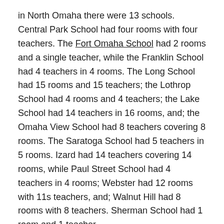in North Omaha there were 13 schools. Central Park School had four rooms with four teachers. The Fort Omaha School had 2 rooms and a single teacher, while the Franklin School had 4 teachers in 4 rooms. The Long School had 15 rooms and 15 teachers; the Lothrop School had 4 rooms and 4 teachers; the Lake School had 14 teachers in 16 rooms, and; the Omaha View School had 8 teachers covering 8 rooms. The Saratoga School had 5 teachers in 5 rooms. Izard had 14 teachers covering 14 rooms, while Paul Street School had 4 teachers in 4 rooms; Webster had 12 rooms with 11s teachers, and; Walnut Hill had 8 rooms with 8 teachers. Sherman School had 1 room and 1 teacher.
There were other schools outside of the Omaha School District but within present-day North Omaha. They included: